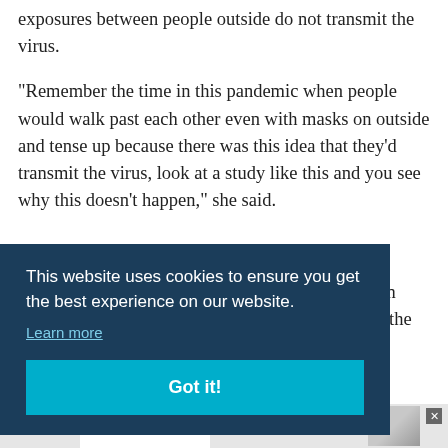exposures between people outside do not transmit the virus.
“Remember the time in this pandemic when people would walk past each other even with masks on outside and tense up because there was this idea that they’d transmit the virus, look at a study like this and you see why this doesn’t happen,” she said.
...at ...een ...th the
[Figure (screenshot): Cookie consent banner overlay with dark blue background reading 'This website uses cookies to ensure you get the best experience on our website.' with a 'Learn more' link and a 'Got it!' button in teal/cyan.]